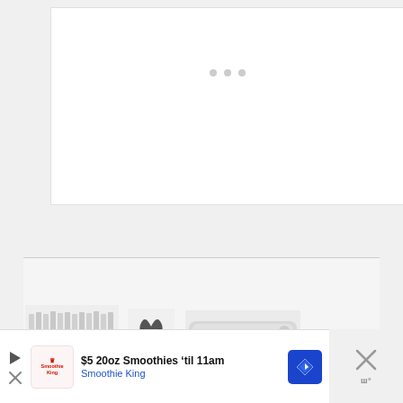[Figure (screenshot): White content box area with loading dots indicator in the upper half of the page]
[Figure (screenshot): Bottom section with a horizontal divider line, a black TOP button with upward arrow, thumbnail images of products, and an advertisement banner for Smoothie King showing $5 20oz Smoothies til 11am]
$5 20oz Smoothies ‘til 11am
Smoothie King
TOP